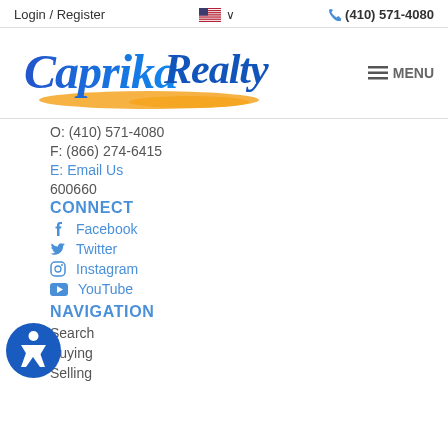Login / Register   🇺🇸 ∨   📞 (410) 571-4080
[Figure (logo): Caprika Realty logo with blue script lettering and yellow swoosh underneath]
MENU
O: (410) 571-4080
F: (866) 274-6415
E: Email Us
600660
CONNECT
Facebook
Twitter
Instagram
YouTube
NAVIGATION
Search
Buying
Selling